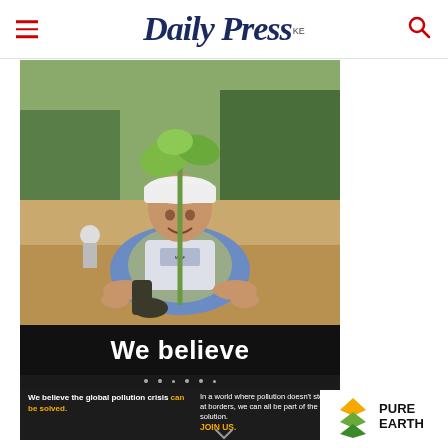Daily Press KE
[Figure (photo): Man in white hard hat and vest kneeling on sandy ground, planting a young sapling tree. Background shows forested area. Part of an environmental/reforestation campaign.]
We believe
We believe the global pollution crisis can be solved.
In a world where pollution doesn't stop at borders, we can all be part of the solution. JOIN US.
[Figure (logo): Pure Earth logo — diamond/chevron icon in gold and green, with PURE EARTH text in bold black.]